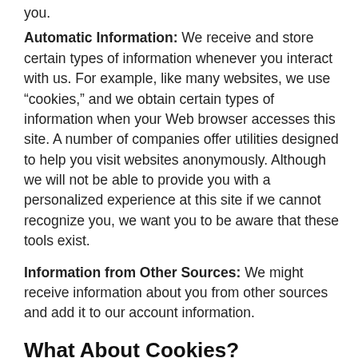you.
Automatic Information: We receive and store certain types of information whenever you interact with us. For example, like many websites, we use "cookies," and we obtain certain types of information when your Web browser accesses this site. A number of companies offer utilities designed to help you visit websites anonymously. Although we will not be able to provide you with a personalized experience at this site if we cannot recognize you, we want you to be aware that these tools exist.
Information from Other Sources: We might receive information about you from other sources and add it to our account information.
What About Cookies?
...numeric identifiers that we transfer to your computer's hard drive through your Web browser to enable our systems to recognize your browser and to
[Figure (other): Yellow rounded chat badge with phone icon and text 'Text Us Now!']